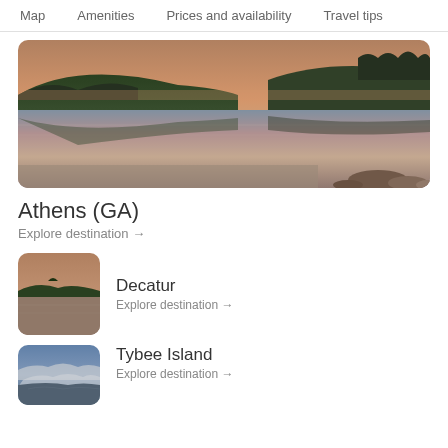Map   Amenities   Prices and availability   Travel tips
[Figure (photo): Panoramic sunset lake scene with forested hills reflected in calm water, rocky shoreline in foreground]
Athens (GA)
Explore destination →
[Figure (photo): Small thumbnail of lake at sunset with tree silhouette — Decatur destination]
Decatur
Explore destination →
[Figure (photo): Small thumbnail of coastal/mountain scene with clouds — Tybee Island destination]
Tybee Island
Explore destination →